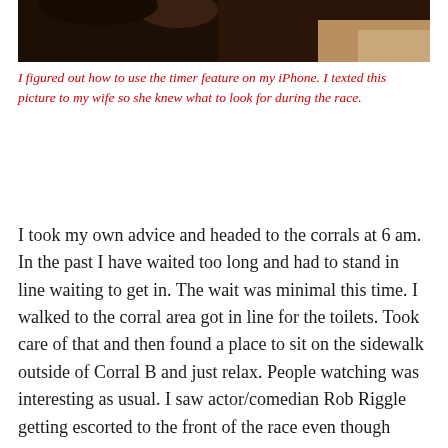[Figure (photo): Cropped photo showing dark fur/hair with some light/skin tones visible at the bottom right]
I figured out how to use the timer feature on my iPhone.  I texted this picture to my wife so she knew what to look for during the race.
I took my own advice and headed to the corrals at 6 am.  In the past I have waited too long and had to stand in line waiting to get in.  The wait was minimal this time.  I walked to the corral area got in line for the toilets.  Took care of that and then found a place to sit on the sidewalk outside of Corral B and just relax.  People watching was interesting as usual.  I saw actor/comedian Rob Riggle getting escorted to the front of the race even though